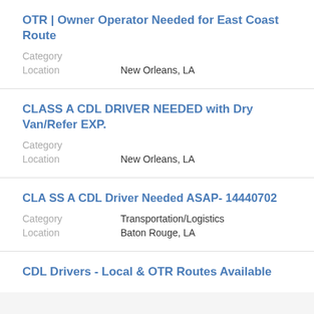OTR | Owner Operator Needed for East Coast Route
Category
Location    New Orleans, LA
CLASS A CDL DRIVER NEEDED with Dry Van/Refer EXP.
Category
Location    New Orleans, LA
CLA SS A CDL Driver Needed ASAP- 14440702
Category    Transportation/Logistics
Location    Baton Rouge, LA
CDL Drivers - Local & OTR Routes Available